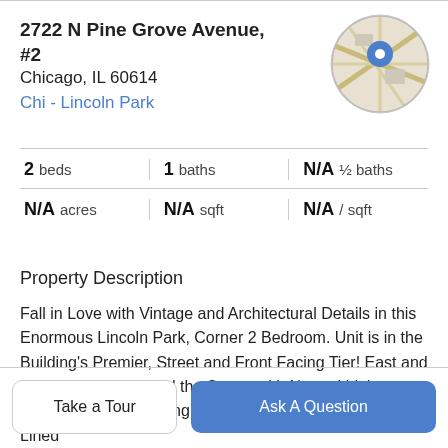2722 N Pine Grove Avenue, #2
Chicago, IL 60614
Chi - Lincoln Park
[Figure (map): Circular map thumbnail showing Lincoln Park area with a blue location pin marker]
| 2 beds | 1 baths | N/A ½ baths |
| N/A acres | N/A sqft | N/A / sqft |
Property Description
Fall in Love with Vintage and Architectural Details in this Enormous Lincoln Park, Corner 2 Bedroom. Unit is in the Building's Premier, Street and Front Facing Tier! East and North Exposure Flood the Space with Natural Light. Living Room and Dining Room Windows Overlook Tree Lined